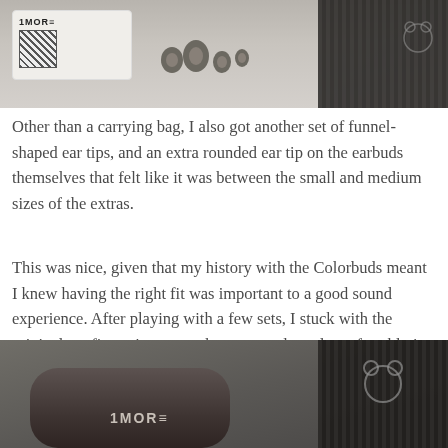[Figure (photo): Top photo showing 1MORE card with QR code, multiple ear tips laid out, and a dark carrying bag on a light surface.]
Other than a carrying bag, I also got another set of funnel-shaped ear tips, and an extra rounded ear tip on the earbuds themselves that felt like it was between the small and medium sizes of the extras.
This was nice, given that my history with the Colorbuds meant I knew having the right fit was important to a good sound experience. After playing with a few sets, I stuck with the original configuration – one that sat snugly and comfortably in my ear.
[Figure (photo): Bottom photo showing a dark 1MORE earbuds charging case with the 1MORE logo, next to a dark ribbed carrying bag with a bear logo icon.]